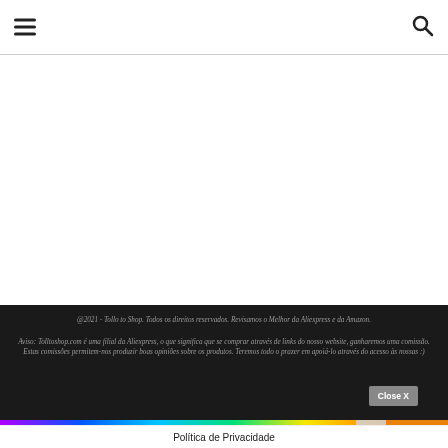[hamburger menu icon] [search icon]
[Figure (other): White empty content area between header and footer]
@2021 - Tollo to Shop. Todos os direitos reservados. Revisamos o Melhor da Aliexpress e da Amazon.
Aviso: Tolltoshop.com é uma filial da Aliexpress, o que significa que se comprar através de links do nosso website, ganharemos uma comissão. Estas comissões permitem-nos produzir boas opiniões sobre os produtos. Teremos todo o prazer em apoiá-lo através do acesso às nossas :)
[Figure (screenshot): Colorful advertisement banner strip with rainbow gradient and orange section on right, with help and close buttons]
Política de Privacidade